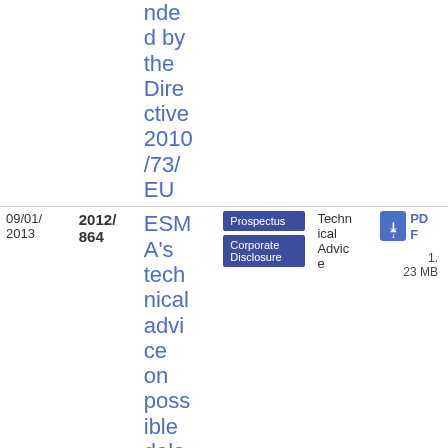| Date | Reference | Title | Tags | Type | File |
| --- | --- | --- | --- | --- | --- |
|  |  | nded d by the Directive 2010/73/EU |  |  |  |
| 09/01/2013 | 2012/864 | ESMA's technical advice on possible delegated acts | Prospectus | Corporate Disclosure | Technical Advice | PDF 1.23 MB |